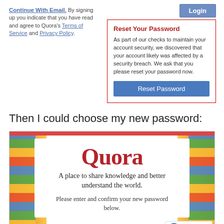Continue With Email. By signing up you indicate that you have read and agree to Quora's Terms of Service and Privacy Policy.
[Figure (screenshot): Quora Reset Your Password modal. Shows 'Reset Your Password' heading in red, description text about security breach, and a blue 'Reset Password' button. Login button visible at top right.]
Then I could choose my new password:
[Figure (screenshot): Quora password reset page screenshot showing Quora logo in red serif font, tagline 'A place to share knowledge and better understand the world.' and text 'Please enter and confirm your new password below.' with colorful illustrated background.]